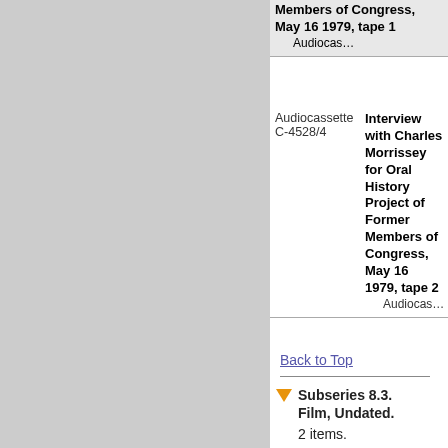| Call Number | Title / Type |
| --- | --- |
|  | Members of Congress, May 16 1979, tape 1
Audiocassette |
| Audiocassette C-4528/4 | Interview with Charles Morrissey for Oral History Project of Former Members of Congress, May 16 1979, tape 2
Audiocassette |
Back to Top
Subseries 8.3. Film, Undated.
2 items.